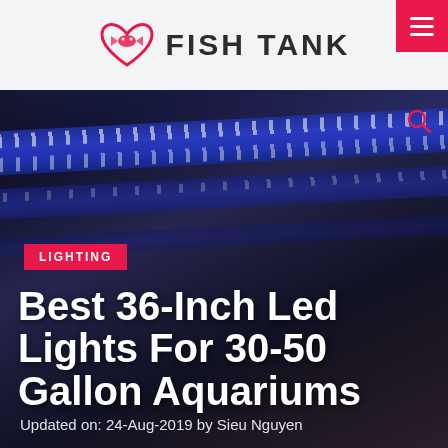FISH TANK
[Figure (photo): Close-up photo of blue LED aquarium light strips/bars mounted above a fish tank, with multiple rows of white LED bulbs visible against a dark background]
LIGHTING
Best 36-Inch Led Lights For 30-50 Gallon Aquariums
Updated on: 24-Aug-2019 by Sieu Nguyen